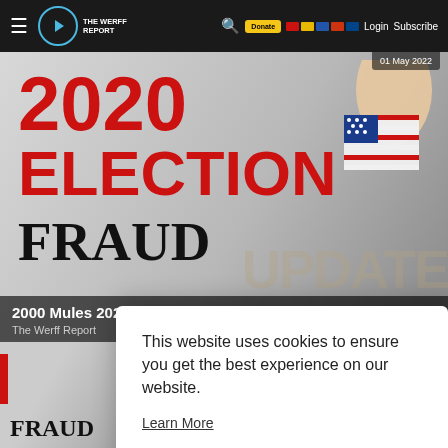THE WERFF REPORT — Login Subscribe
[Figure (screenshot): 2020 Election Fraud article thumbnail showing bold red text '2020 ELECTION' and black serif 'FRAUD' with a hand inserting ballot into ballot box, American flag visible]
2000 Mules 2020 Election Fraud Investigation U…
The Werff Report
This website uses cookies to ensure you get the best experience on our website.
Learn More
Got It!